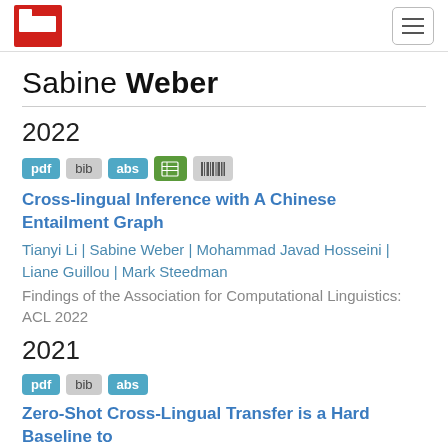Sabine Weber — academic publications page
Sabine Weber
2022
pdf bib abs [icon] [icon]
Cross-lingual Inference with A Chinese Entailment Graph
Tianyi Li | Sabine Weber | Mohammad Javad Hosseini | Liane Guillou | Mark Steedman
Findings of the Association for Computational Linguistics: ACL 2022
2021
pdf bib abs
Zero-Shot Cross-Lingual Transfer is a Hard Baseline to Beat in German Fine-Grained Entity Typing